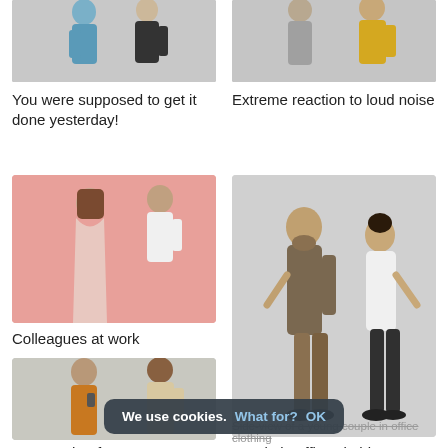[Figure (photo): Two people standing facing each other, cropped at top, light gray background. Left person in blue top, right in black outfit.]
[Figure (photo): Two people reacting dramatically, cropped at top, gray background. Left person in gray shirt, right in yellow top.]
You were supposed to get it done yesterday!
Extreme reaction to loud noise
[Figure (photo): A woman and man standing and talking, pink background. Woman in pink dress facing away, man in white shirt gesturing.]
[Figure (photo): Side-view of a young couple in office clothing disagreeing, gray background. Man in brown shirt, woman in white top, both gesturing with open palms.]
Colleagues at work
[Figure (photo): Two people talking, light gray background. Woman in orange/brown blazer holding phone, man in beige jacket.]
Are you that famous
couple in office clothing
We use cookies. What for? OK
Side-view of a young couple in office clothing